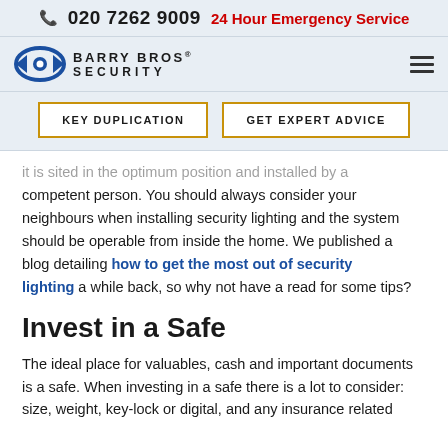📞 020 7262 9009   24 Hour Emergency Service
[Figure (logo): Barry Bros Security logo with eye/shield icon and company name]
KEY DUPLICATION   GET EXPERT ADVICE
it is sited in the optimum position and installed by a competent person. You should always consider your neighbours when installing security lighting and the system should be operable from inside the home. We published a blog detailing how to get the most out of security lighting a while back, so why not have a read for some tips?
Invest in a Safe
The ideal place for valuables, cash and important documents is a safe. When investing in a safe there is a lot to consider: size, weight, key-lock or digital, and any insurance related